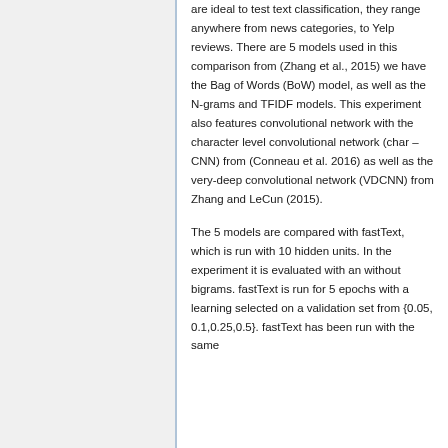are ideal to test text classification, they range anywhere from news categories, to Yelp reviews. There are 5 models used in this comparison from (Zhang et al., 2015) we have the Bag of Words (BoW) model, as well as the N-grams and TFIDF models. This experiment also features convolutional network with the character level convolutional network (char – CNN) from (Conneau et al. 2016) as well as the very-deep convolutional network (VDCNN) from Zhang and LeCun (2015).
The 5 models are compared with fastText, which is run with 10 hidden units. In the experiment it is evaluated with an without bigrams. fastText is run for 5 epochs with a learning selected on a validation set from {0.05, 0.1,0.25,0.5}. fastText has been run with the same